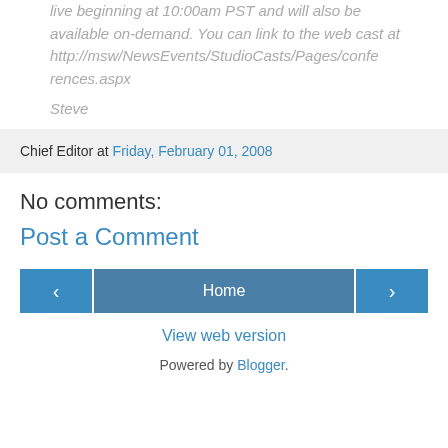live beginning at 10:00am PST and will also be available on-demand. You can link to the web cast at http://msw/NewsEvents/StudioCasts/Pages/conferences.aspx
Steve
Chief Editor at Friday, February 01, 2008
No comments:
Post a Comment
Home
View web version
Powered by Blogger.